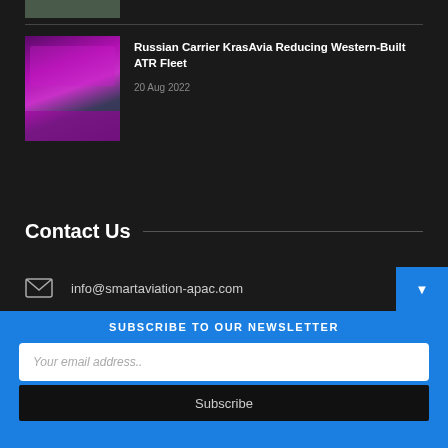[Figure (photo): Partial thumbnail of an article image at top of page]
Russian Carrier KrasAvia Reducing Western-Built ATR Fleet
20 Aug 2022
Contact Us
info@smartaviation-apac.com
SUBSCRIBE TO OUR NEWSLETTER
Your email address..
Subscribe